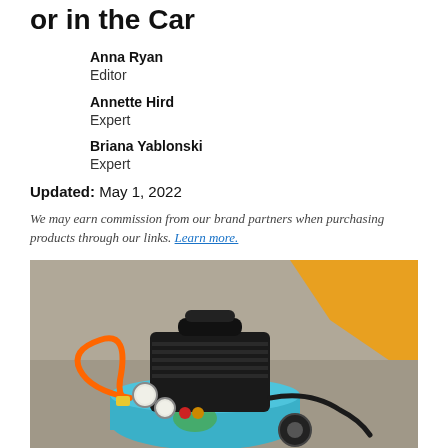or in the Car
Anna Ryan
Editor
Annette Hird
Expert
Briana Yablonski
Expert
Updated: May 1, 2022
We may earn commission from our brand partners when purchasing products through our links. Learn more.
[Figure (photo): A small portable air compressor with black body on a blue tank, orange hose and pressure gauges, sitting on carpet next to a yellow surface.]